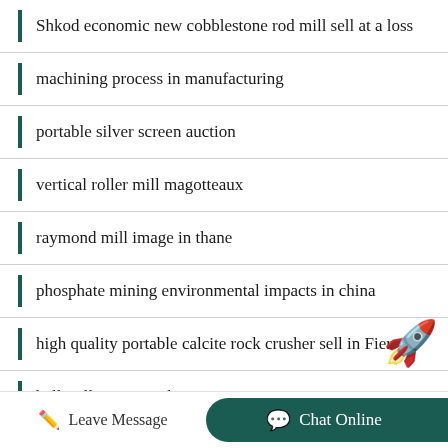Shkod economic new cobblestone rod mill sell at a loss
machining process in manufacturing
portable silver screen auction
vertical roller mill magotteaux
raymond mill image in thane
phosphate mining environmental impacts in china
high quality portable calcite rock crusher sell in Fier
ball mill organic substances
Leave Message   Chat Online